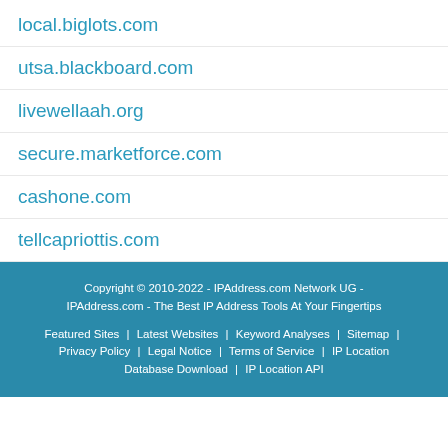local.biglots.com
utsa.blackboard.com
livewellaah.org
secure.marketforce.com
cashone.com
tellcapriottis.com
Copyright © 2010-2022 - IPAddress.com Network UG - IPAddress.com - The Best IP Address Tools At Your Fingertips
Featured Sites | Latest Websites | Keyword Analyses | Sitemap | Privacy Policy | Legal Notice | Terms of Service | AL Location Database Download | IP Location API